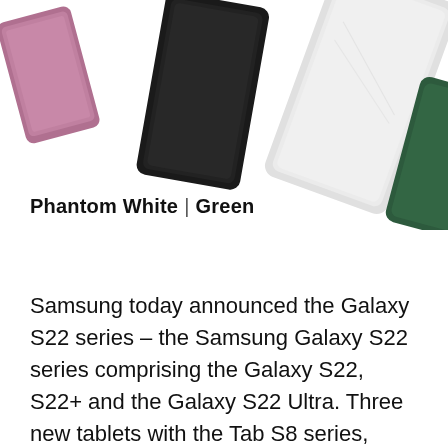[Figure (photo): Product photo showing Samsung Galaxy tablets in multiple colors: a phantom pink/mauve tablet on the left, a black tablet in the center, a white tablet on the right, and a partially visible green tablet at the far right edge.]
Phantom White | Green
Samsung today announced the Galaxy S22 series – the Samsung Galaxy S22 series comprising the Galaxy S22, S22+ and the Galaxy S22 Ultra. Three new tablets with the Tab S8 series, including the Tab S8, Tab S8+